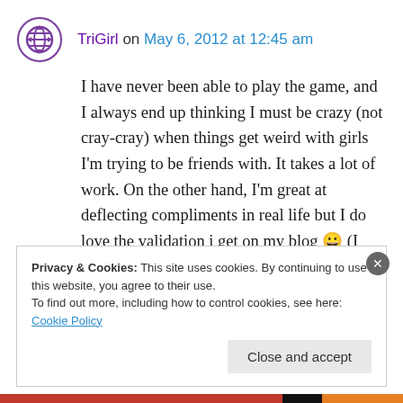TriGirl on May 6, 2012 at 12:45 am
I have never been able to play the game, and I always end up thinking I must be crazy (not cray-cray) when things get weird with girls I'm trying to be friends with. It takes a lot of work. On the other hand, I'm great at deflecting compliments in real life but I do love the validation i get on my blog 😀 (I also use too many emoticons)
Privacy & Cookies: This site uses cookies. By continuing to use this website, you agree to their use.
To find out more, including how to control cookies, see here: Cookie Policy